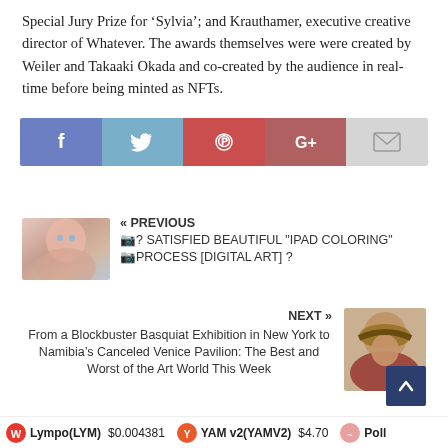Special Jury Prize for ‘Sylvia’; and Krauthamer, executive creative director of Whatever. The awards themselves were were created by Weiler and Takaaki Okada and co-created by the audience in real-time before being minted as NFTs.
[Figure (infographic): Social share buttons: Facebook (blue-purple), Twitter (light blue), Pinterest (red), Google+ (dark red), Email (light gray)]
[Figure (photo): Previous article thumbnail: digital art portrait of a face with blue eyes and painted strokes]
« PREVIOUS 📷? SATISFIED BEAUTIFUL "IPAD COLORING" 📷PROCESS [DIGITAL ART] ?
[Figure (photo): Next article thumbnail: person wearing a hat, smiling outdoors]
NEXT » From a Blockbuster Basquiat Exhibition in New York to Namibia’s Canceled Venice Pavilion: The Best and Worst of the Art World This Week
Lympo(LYM) $0.004381   YAM v2(YAMV2) $4.70   Poll